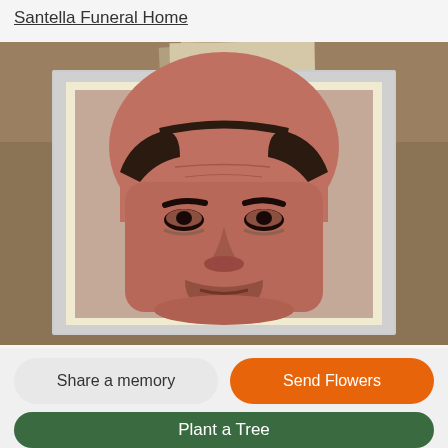Santella Funeral Home
[Figure (photo): Portrait photograph of a middle-aged bald man, close-up face shot, displayed inside a white/silver decorative frame against a sepia/bronze background with stacked photos motif]
Share a memory
Send Flowers
Plant a Tree